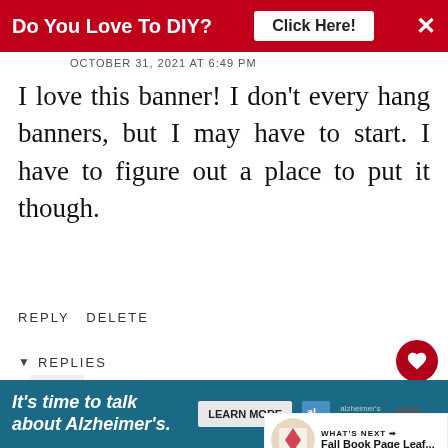[Figure (screenshot): Red advertisement banner: 'Do You Love To DIY? Click Here!' with close X]
OCTOBER 31, 2021 AT 6:49 PM
I love this banner! I don't every hang banners, but I may have to start. I have to figure out a place to put it though.
REPLY DELETE
▼ REPLIES
Kim
OCTOBER 31, 2021 AT 8:55 PM
Thanks Mari!I hope you have a lovely weekend.
[Figure (screenshot): WHAT'S NEXT arrow: Fall Book Page Leaf... with thumbnail]
[Figure (screenshot): Bottom advertisement: It's time to talk about Alzheimer's. Learn More. Alzheimer's association logo.]